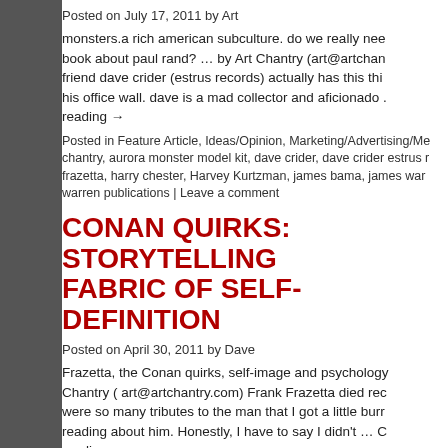Posted on July 17, 2011 by Art
monsters.a rich american subculture. do we really nee book about paul rand? … by Art Chantry (art@artchan friend dave crider (estrus records) actually has this thi his office wall. dave is a mad collector and aficionado . reading →
Posted in Feature Article, Ideas/Opinion, Marketing/Advertising/Me chantry, aurora monster model kit, dave crider, dave crider estrus frazetta, harry chester, Harvey Kurtzman, james bama, james war warren publications | Leave a comment
CONAN QUIRKS: STORYTELLING FABRIC OF SELF-DEFINITION
Posted on April 30, 2011 by Dave
Frazetta, the Conan quirks, self-image and psychology Chantry ( art@artchantry.com) Frank Frazetta died rec were so many tributes to the man that I got a little burn reading about him. Honestly, I have to say I didn't … C reading →
Posted in Feature Article, Ideas/Opinion, Marketing/Advertising/Me Miscellaneous, Modern Arts/Craft | Tagged Al Capp, Clint Eastwo burroughs, frank frazetta, harry chester, james warren, John Carte